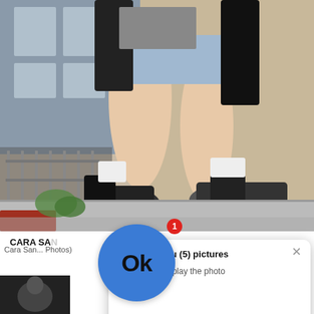[Figure (photo): Paparazzi photo of a person walking, wearing denim cutoff shorts, black jacket, white socks and black Converse high-top sneakers. Only the lower body and legs are visible. Sidewalk and beige wall in background.]
CARA SA...
Cara San... Photos)
[Figure (photo): Thumbnail photo at bottom left, dark-toned celebrity photo]
[Figure (other): Ad popup notification overlay with blue circle Ok button, red badge showing '1', title 'Kate sent you (5) pictures', body text 'Click OK to display the photo', close X button, footer 'Ads By ClickAdilla  a1h']